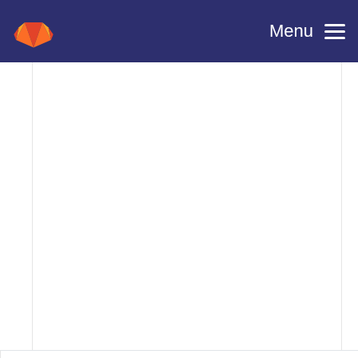Menu
stmhal, modtime: Small changes, reduced code si... — Damien George committed 7 years ago
Add time.mktime and enhance time.localtime (for ... — Dave Hylands committed 7 years ago
stmhal, modtime: Small changes, reduced code si... — Damien George committed 7 years ago
Add time.mktime and enhance time.localtime (for ... — Dave Hylands committed 7 years ago